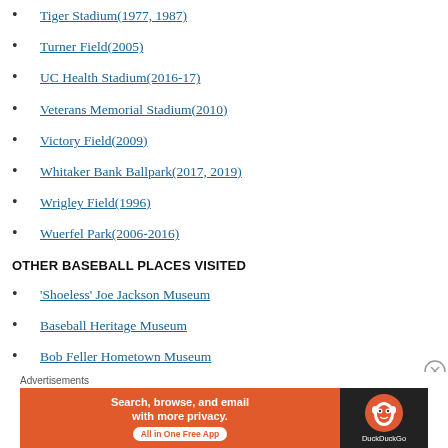Tiger Stadium(1977, 1987)
Turner Field(2005)
UC Health Stadium(2016-17)
Veterans Memorial Stadium(2010)
Victory Field(2009)
Whitaker Bank Ballpark(2017, 2019)
Wrigley Field(1996)
Wuerfel Park(2006-2016)
OTHER BASEBALL PLACES VISITED
'Shoeless' Joe Jackson Museum
Baseball Heritage Museum
Bob Feller Hometown Museum
Field of Dreams Movie Site